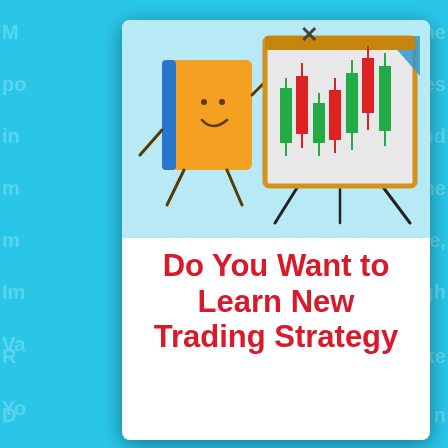[Figure (illustration): Advertisement popup/modal overlay on a light blue background. The popup shows a cartoon orange book character holding a pencil pointing at a whiteboard/easel displaying a candlestick chart with red and green candles. Below the illustration is bold red text on white background reading 'Do You Want to Learn New Trading Strategy'. A close (X) button is in the top-right corner of the modal. The background page behind the modal shows partial light blue text.]
Do You Want to Learn New Trading Strategy